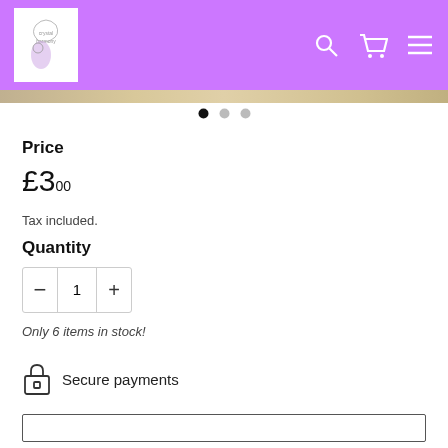Crystal Harmony shop header with logo and navigation icons
[Figure (other): Carousel dot indicators showing 3 slides, first dot active (black), two inactive (grey)]
Price
£3.00
Tax included.
Quantity
- 1 +
Only 6 items in stock!
Secure payments